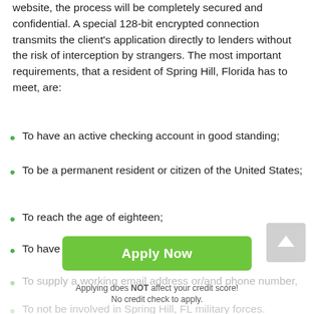website, the process will be completely secured and confidential. A special 128-bit encrypted connection transmits the client's application directly to lenders without the risk of interception by strangers. The most important requirements, that a resident of Spring Hill, Florida has to meet, are:
To have an active checking account in good standing;
To be a permanent resident or citizen of the United States;
To reach the age of eighteen;
To have a permanent job (at least for a month);
To supply a working email address or/and phone number,
To not be involved in Spring Hill, FL military forces.
To have a good income that can be proofed, through government checks or paychecks.
[Figure (other): Green 'Apply Now' button overlay with subtext 'Applying does NOT affect your credit score!' and 'No credit check to apply.']